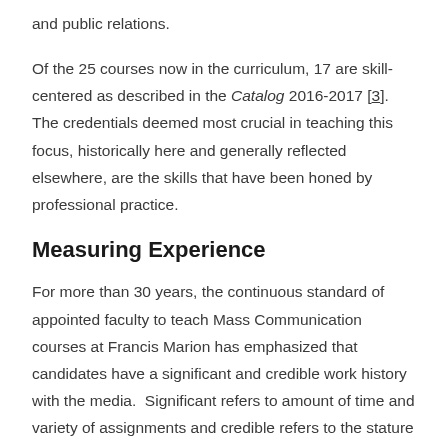and public relations.
Of the 25 courses now in the curriculum, 17 are skill-centered as described in the Catalog 2016-2017 [3].  The credentials deemed most crucial in teaching this focus, historically here and generally reflected elsewhere, are the skills that have been honed by professional practice.
Measuring Experience
For more than 30 years, the continuous standard of appointed faculty to teach Mass Communication courses at Francis Marion has emphasized that candidates have a significant and credible work history with the media.  Significant refers to amount of time and variety of assignments and credible refers to the stature of the media employer and the recognition each candidate gained in the profession.  The five persons mentioned above without terminal degrees have compiled an average of nearly 20 years of daily